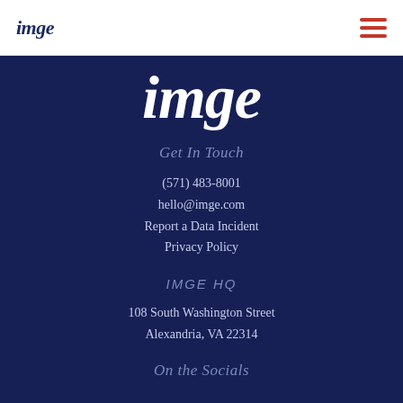imge
[Figure (logo): imge logo large white italic serif font on dark navy background]
Get In Touch
(571) 483-8001
hello@imge.com
Report a Data Incident
Privacy Policy
IMGE HQ
108 South Washington Street
Alexandria, VA 22314
On the Socials